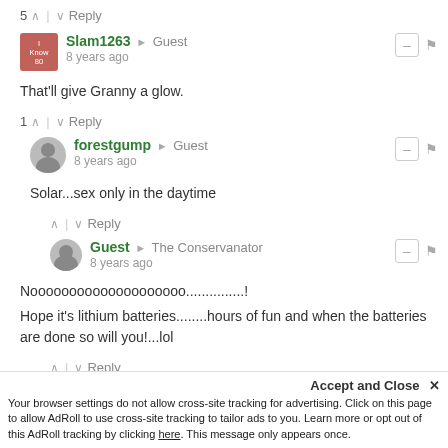5 ↑ | ↓ Reply
Slam1263 → Guest
8 years ago
That'll give Granny a glow.
1 ↑ | ↓ Reply
forestgump → Guest
8 years ago
Solar...sex only in the daytime
↑ | ↓ Reply
Guest → The Conservanator
8 years ago
Noooooooooooooooooooo...............!
Hope it's lithium batteries........hours of fun and when the batteries are done so will you!...lol
↑ | ↓ Reply
Accept and Close ✕
Your browser settings do not allow cross-site tracking for advertising. Click on this page to allow AdRoll to use cross-site tracking to tailor ads to you. Learn more or opt out of this AdRoll tracking by clicking here. This message only appears once.